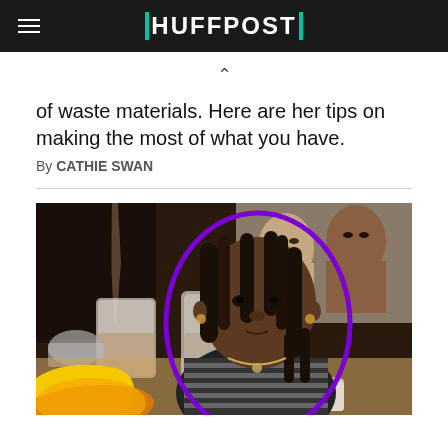HUFFPOST
of waste materials. Here are her tips on making the most of what you have.
By CATHIE SWAN
[Figure (photo): Young Black woman with braided hair wearing a striped shirt, outlined in purple, sitting in front of jars at a table. Background includes colorful portraits. Yellow and orange graphic elements appear in the lower left corner. A person pours liquid into a jar in the upper left.]